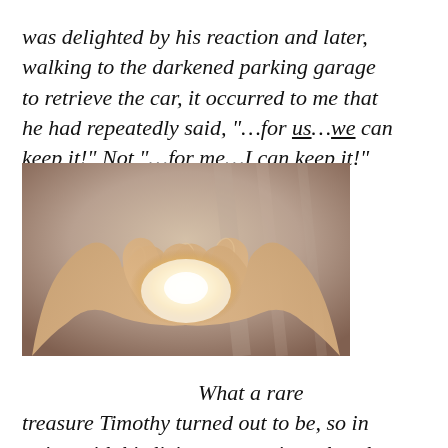was delighted by his reaction and later, walking to the darkened parking garage to retrieve the car, it occurred to me that he had repeatedly said, "…for us…we can keep it!" Not "…for me…I can keep it!"
[Figure (photo): Two open hands cupped together with a glowing warm light emanating from the palms, suggesting offering or holding something precious.]
What a rare treasure Timothy turned out to be, so in union with his living companions that there